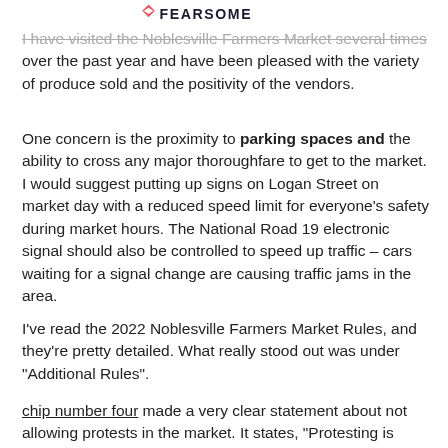[Figure (logo): Fearsome logo with diamond/arrow icon at top of page]
I have visited the Noblesville Farmers Market several times over the past year and have been pleased with the variety of produce sold and the positivity of the vendors.
One concern is the proximity to parking spaces and the ability to cross any major thoroughfare to get to the market. I would suggest putting up signs on Logan Street on market day with a reduced speed limit for everyone's safety during market hours. The National Road 19 electronic signal should also be controlled to speed up traffic – cars waiting for a signal change are causing traffic jams in the area.
I've read the 2022 Noblesville Farmers Market Rules, and they're pretty detailed. What really stood out was under "Additional Rules".
chip number four made a very clear statement about not allowing protests in the market. It states, "Protesting is